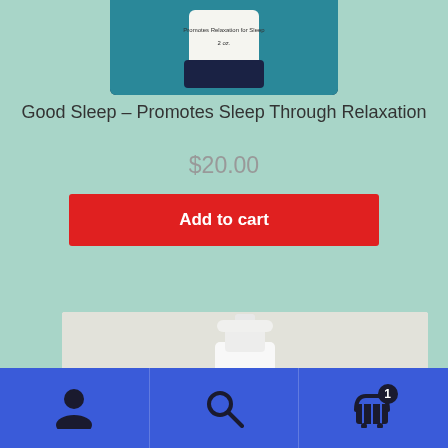[Figure (photo): Product photo of a dark-capped container/bottle labeled 'Promotes Relaxation for Sleep 2 oz.' on a teal background, partially cropped at top]
Good Sleep – Promotes Sleep Through Relaxation
$20.00
Add to cart
[Figure (photo): Partially visible white pump/dispenser bottle on a white textured background, cropped]
Navigation bar with account icon, search icon, and cart icon with badge showing 1 item